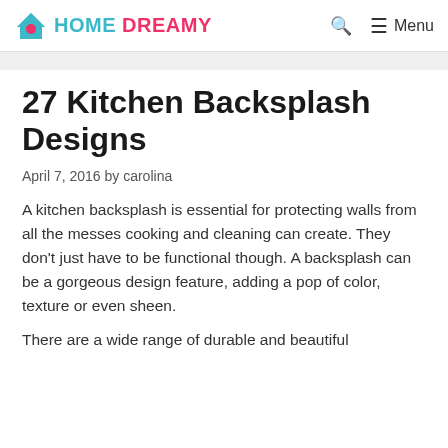HOME DREAMY — Search — Menu
27 Kitchen Backsplash Designs
April 7, 2016 by carolina
A kitchen backsplash is essential for protecting walls from all the messes cooking and cleaning can create. They don't just have to be functional though. A backsplash can be a gorgeous design feature, adding a pop of color, texture or even sheen.
There are a wide range of durable and beautiful